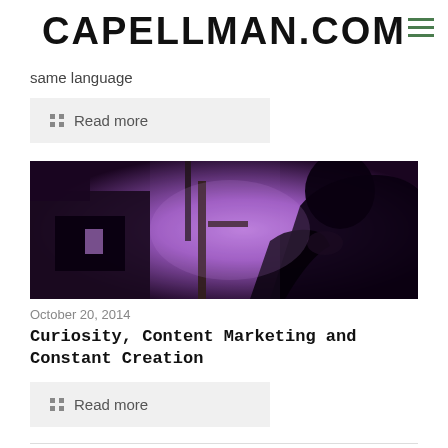CAPELLMAN.COM
same language
Read more
[Figure (photo): Silhouette of a person working at equipment against a purple/violet lit background]
October 20, 2014
Curiosity, Content Marketing and Constant Creation
Read more